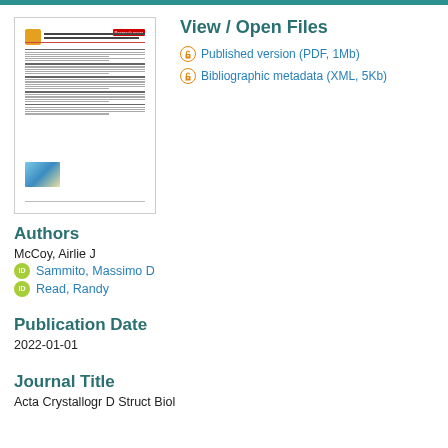[Figure (screenshot): Thumbnail preview of a research paper document page showing title, text columns, and a figure with a mountain/graph image at the bottom.]
View / Open Files
Published version (PDF, 1Mb)
Bibliographic metadata (XML, 5Kb)
Authors
McCoy, Airlie J
Sammito, Massimo D
Read, Randy
Publication Date
2022-01-01
Journal Title
Acta Crystallogr D Struct Biol